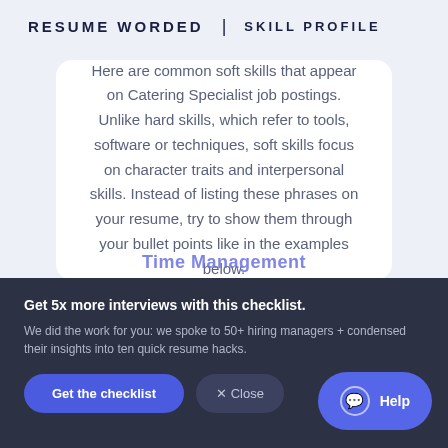RESUME WORDED | SKILL PROFILE
Here are common soft skills that appear on Catering Specialist job postings. Unlike hard skills, which refer to tools, software or techniques, soft skills focus on character traits and interpersonal skills. Instead of listing these phrases on your resume, try to show them through your bullet points like in the examples below.
Time Management
Get 5x more interviews with this checklist.
We did the work for you: we spoke to 50+ hiring managers + condensed their insights into ten quick resume hacks.
Get the checklist
× Close
Help